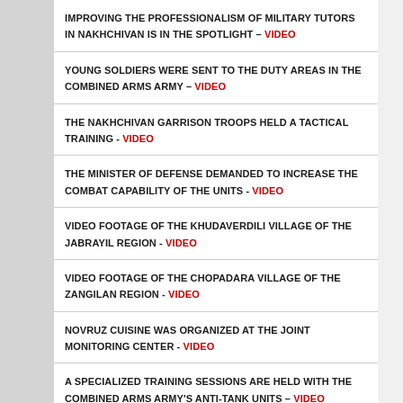IMPROVING THE PROFESSIONALISM OF MILITARY TUTORS IN NAKHCHIVAN IS IN THE SPOTLIGHT – VIDEO
YOUNG SOLDIERS WERE SENT TO THE DUTY AREAS IN THE COMBINED ARMS ARMY – VIDEO
THE NAKHCHIVAN GARRISON TROOPS HELD A TACTICAL TRAINING - VIDEO
THE MINISTER OF DEFENSE DEMANDED TO INCREASE THE COMBAT CAPABILITY OF THE UNITS - VIDEO
VIDEO FOOTAGE OF THE KHUDAVERDILI VILLAGE OF THE JABRAYIL REGION - VIDEO
VIDEO FOOTAGE OF THE CHOPADARA VILLAGE OF THE ZANGILAN REGION - VIDEO
NOVRUZ CUISINE WAS ORGANIZED AT THE JOINT MONITORING CENTER - VIDEO
A SPECIALIZED TRAINING SESSIONS ARE HELD WITH THE COMBINED ARMS ARMY'S ANTI-TANK UNITS – VIDEO
VIDEO FOOTAGE OF THE ARISH VILLAGE OF THE FUZULI REGION - VIDEO